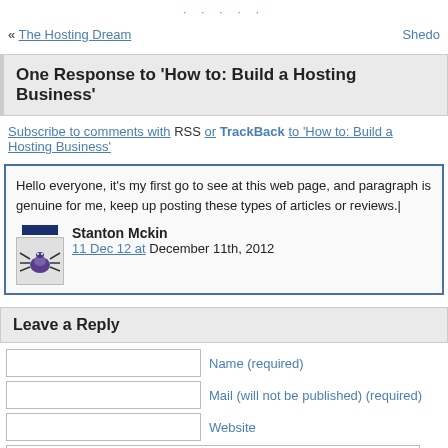· · · · ·
« The Hosting Dream   Shedo
One Response to 'How to: Build a Hosting Business'
Subscribe to comments with RSS or TrackBack to 'How to: Build a Hosting Business'
Hello everyone, it's my first go to see at this web page, and paragraph is genuine for me, keep up posting these types of articles or reviews.|
Stanton Mckin
11 Dec 12 at December 11th, 2012
Leave a Reply
Name (required)
Mail (will not be published) (required)
Website